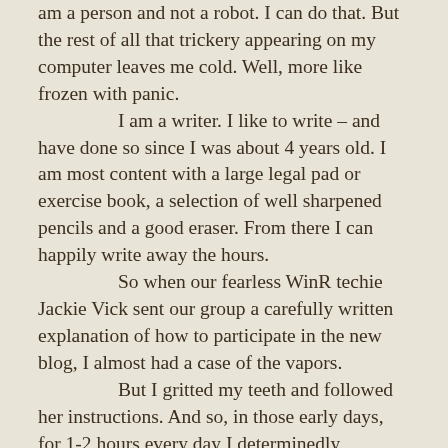am a person and not a robot. I can do that. But the rest of all that trickery appearing on my computer leaves me cold. Well, more like frozen with panic.
	I am a writer. I like to write – and have done so since I was about 4 years old. I am most content with a large legal pad or exercise book, a selection of well sharpened pencils and a good eraser. From there I can happily write away the hours.
	So when our fearless WinR techie Jackie Vick sent our group a carefully written explanation of how to participate in the new blog, I almost had a case of the vapors.
	But I gritted my teeth and followed her instructions. And so, in those early days, for 1-2 hours every day I determinedly followed these instructions to the letter, attempting to send a literary contribution. But